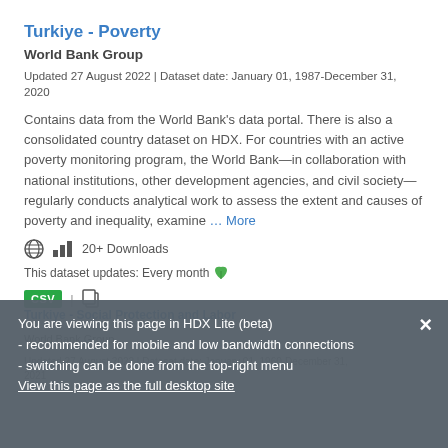Turkiye - Poverty
World Bank Group
Updated 27 August 2022 | Dataset date: January 01, 1987-December 31, 2020
Contains data from the World Bank's data portal. There is also a consolidated country dataset on HDX. For countries with an active poverty monitoring program, the World Bank—in collaboration with national institutions, other development agencies, and civil society—regularly conducts analytical work to assess the extent and causes of poverty and inequality, examine ... More
20+ Downloads
This dataset updates: Every month
CSV
You are viewing this page in HDX Lite (beta) - recommended for mobile and low bandwidth connections - switching can be done from the top-right menu View this page as the full desktop site
Turkiye - Social Protection and Labor
World Bank Group
Updated 27 August 2022 | Dataset date: January 01, 1960-December 31, 2021